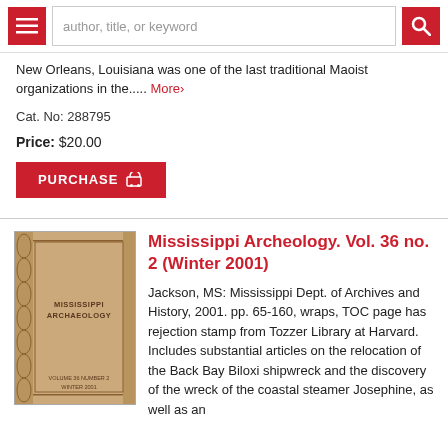Navigation bar with hamburger menu, search input (author, title, or keyword), and search button
New Orleans, Louisiana was one of the last traditional Maoist organizations in the..... More>
Cat. No: 288795
Price: $20.00
PURCHASE
Mississippi Archeology. Vol. 36 no. 2 (Winter 2001)
[Figure (photo): Book cover of Mississippi Archeology with tan/beige color and decorative border pattern]
Jackson, MS: Mississippi Dept. of Archives and History, 2001. pp. 65-160, wraps, TOC page has rejection stamp from Tozzer Library at Harvard. Includes substantial articles on the relocation of the Back Bay Biloxi shipwreck and the discovery of the wreck of the coastal steamer Josephine, as well as an